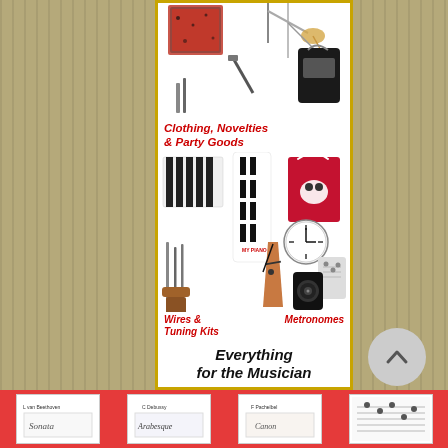[Figure (illustration): Vertical advertisement banner for PianoSupplies.com showing various piano-related products including sheet music, clothing/accessories, wires & tuning kits, and metronomes, with red category labels and bottom red footer bar. Below the banner is a navigation circle button and a thumbnail strip.]